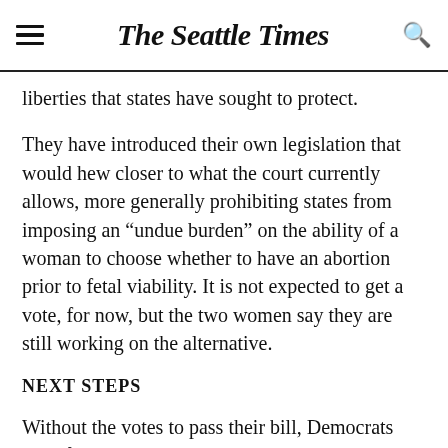The Seattle Times
liberties that states have sought to protect.
They have introduced their own legislation that would hew closer to what the court currently allows, more generally prohibiting states from imposing an “undue burden” on the ability of a woman to choose whether to have an abortion prior to fetal viability. It is not expected to get a vote, for now, but the two women say they are still working on the alternative.
NEXT STEPS
Without the votes to pass their bill, Democrats have few other options to block the eventual court ruling, if it overturns Roe v. Wade. They have promised to keep trying to stop it.